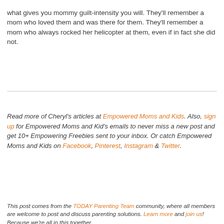what gives you mommy guilt-intensity you will. They'll remember a mom who loved them and was there for them. They'll remember a mom who always rocked her helicopter at them, even if in fact she did not.
Read more of Cheryl's articles at Empowered Moms and Kids. Also, sign up for Empowered Moms and Kid's emails to never miss a new post and get 10+ Empowering Freebies sent to your inbox. Or catch Empowered Moms and Kids on Facebook, Pinterest, Instagram & Twitter.
This post comes from the TODAY Parenting Team community, where all members are welcome to post and discuss parenting solutions. Learn more and join us! Because we're all in this together.